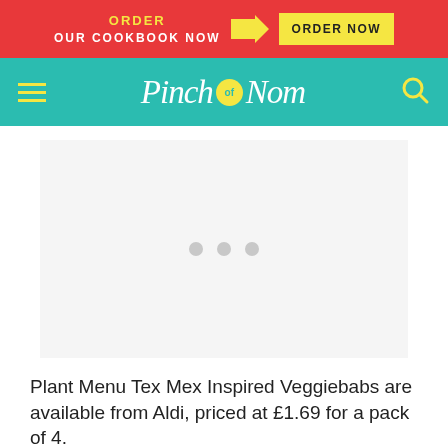ORDER OUR COOKBOOK NOW → ORDER NOW
[Figure (logo): Pinch of Nom logo on teal navigation bar with hamburger menu and search icon]
[Figure (other): Large white/light grey image placeholder with three grey loading dots in the center]
Plant Menu Tex Mex Inspired Veggiebabs are available from Aldi, priced at £1.69 for a pack of 4.